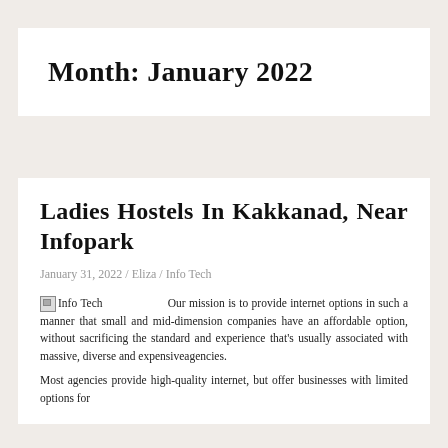Month: January 2022
Ladies Hostels In Kakkanad, Near Infopark
January 31, 2022 / Eliza / Info Tech
Our mission is to provide internet options in such a manner that small and mid-dimension companies have an affordable option, without sacrificing the standard and experience that's usually associated with massive, diverse and expensiveagencies.
Most agencies provide high-quality internet, but offer businesses with limited options for